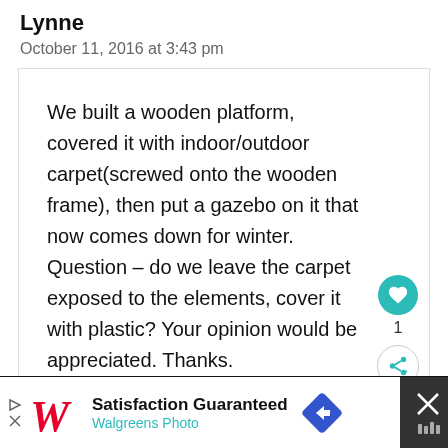Lynne
October 11, 2016 at 3:43 pm
We built a wooden platform, covered it with indoor/outdoor carpet(screwed onto the wooden frame), then put a gazebo on it that now comes down for winter. Question – do we leave the carpet exposed to the elements, cover it with plastic? Your opinion would be appreciated. Thanks.
Reply
[Figure (screenshot): Walgreens Photo advertisement bar with logo, 'Satisfaction Guaranteed' text, blue diamond arrow icon, and a close (X) button on a dark background]